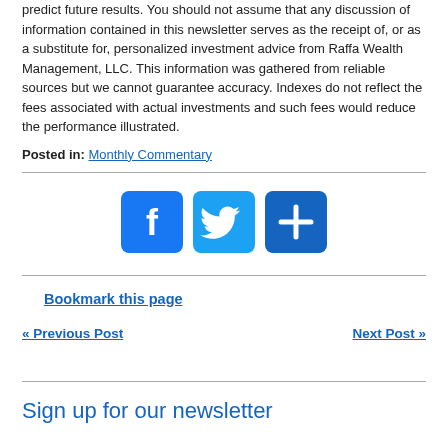predict future results. You should not assume that any discussion of information contained in this newsletter serves as the receipt of, or as a substitute for, personalized investment advice from Raffa Wealth Management, LLC. This information was gathered from reliable sources but we cannot guarantee accuracy. Indexes do not reflect the fees associated with actual investments and such fees would reduce the performance illustrated.
Posted in: Monthly Commentary
[Figure (infographic): Social media sharing icons: Facebook (blue square with 'f'), Twitter (blue square with bird), and a blue square with plus sign (share)]
Bookmark this page
« Previous Post
Next Post »
Sign up for our newsletter